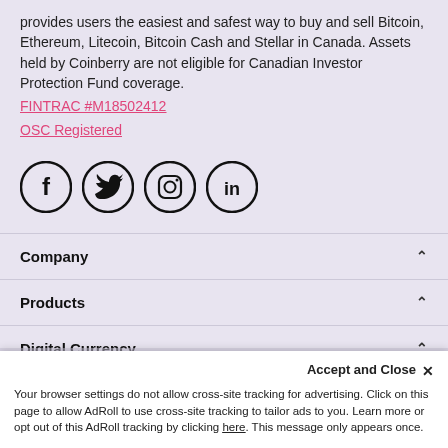provides users the easiest and safest way to buy and sell Bitcoin, Ethereum, Litecoin, Bitcoin Cash and Stellar in Canada. Assets held by Coinberry are not eligible for Canadian Investor Protection Fund coverage.
FINTRAC #M18502412
OSC Registered
[Figure (illustration): Four social media icons in circular borders: Facebook (f), Twitter (bird), Instagram (camera), LinkedIn (in)]
Company
Products
Digital Currency
Learn
Accept and Close ×
Your browser settings do not allow cross-site tracking for advertising. Click on this page to allow AdRoll to use cross-site tracking to tailor ads to you. Learn more or opt out of this AdRoll tracking by clicking here. This message only appears once.